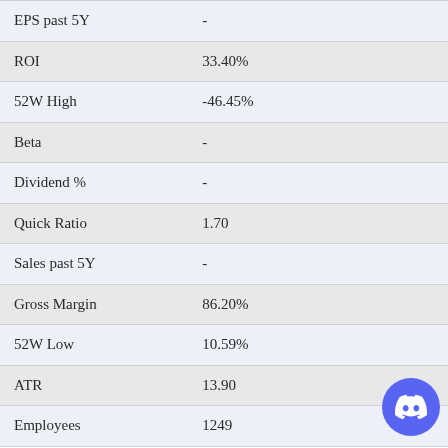| Metric | Value |
| --- | --- |
| EPS past 5Y | - |
| ROI | 33.40% |
| 52W High | -46.45% |
| Beta | - |
| Dividend % | - |
| Quick Ratio | 1.70 |
| Sales past 5Y | - |
| Gross Margin | 86.20% |
| 52W Low | 10.59% |
| ATR | 13.90 |
| Employees | 1249 |